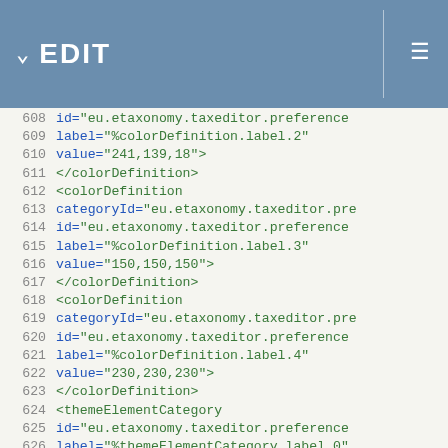EDIT
XML code editor showing lines 608-633 with colorDefinition and themeElementCategory XML elements